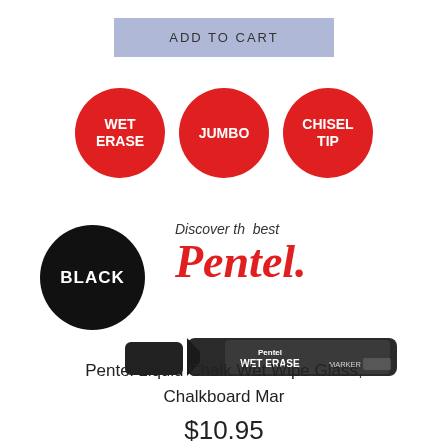ADD TO CART
[Figure (infographic): Three red circular badges with white text: WET ERASE, JUMBO, CHISEL TIP]
[Figure (infographic): Black circle with WHITE text BLACK, Discover the best Pentel logo in red italic, and a photo of Pentel Wet Erase Marker black marker]
Pentel Liquid Chalk Wet Wipe Glass, Chalkboard Mar
$10.95